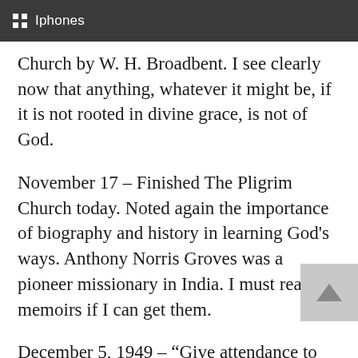Iphones
Church by W. H. Broadbent. I see clearly now that anything, whatever it might be, if it is not rooted in divine grace, is not of God.
November 17 – Finished The Pligrim Church today. Noted again the importance of biography and history in learning God’s ways. Anthony Norris Groves was a pioneer missionary in India. I must read his memoirs if I can get them.
December 5, 1940 – “Give attendance to